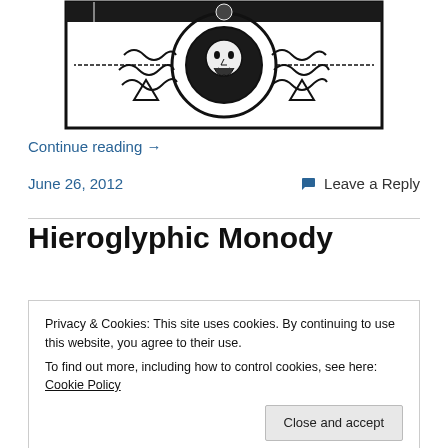[Figure (illustration): Black and white woodcut-style illustration with a circular design featuring a face/figure in the center surrounded by waves and triangular symbols]
Continue reading →
June 26, 2012
💬 Leave a Reply
Hieroglyphic Monody
Privacy & Cookies: This site uses cookies. By continuing to use this website, you agree to their use.
To find out more, including how to control cookies, see here: Cookie Policy
Close and accept